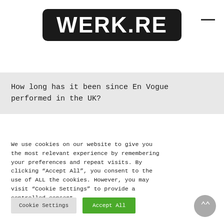[Figure (logo): WERK.RE logo — white bold text on black rounded rectangle]
How long has it been since En Vogue performed in the UK?
We use cookies on our website to give you the most relevant experience by remembering your preferences and repeat visits. By clicking “Accept All”, you consent to the use of ALL the cookies. However, you may visit “Cookie Settings” to provide a controlled consent.